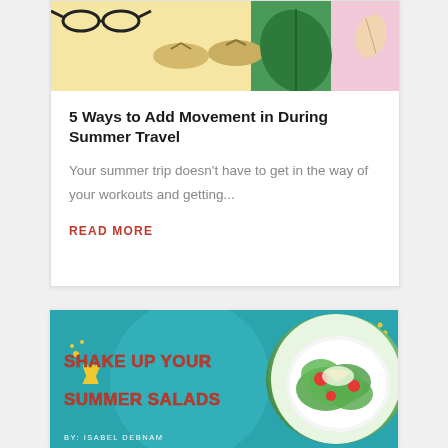[Figure (photo): Top portion of article card showing summer accessories: sunglasses, gold flip-flops, green tropical leaf, pink background with shell]
5 Ways to Add Movement in During Summer Travel
Your summer trip doesn't have to get in the way of your workouts and getting...
READ MORE
[Figure (illustration): Teal/turquoise banner with text 'SHAKE UP YOUR SUMMER SALADS' by Isabel Debnam, featuring yellow decorative splash, yellow dot accents, and a circular photo of a fresh salad with arugula and tomatoes]